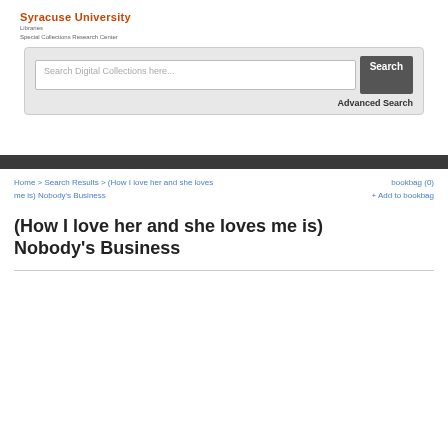Syracuse University Libraries Special Collections Research Center
[Figure (screenshot): Search bar with placeholder 'Search Digital Collections here...' and Search button, with Advanced Search link below]
Home > Search Results > (How I love her and she loves me is) Nobody's Business
bookbag (0) + Add to bookbag
(How I love her and she loves me is) Nobody's Business